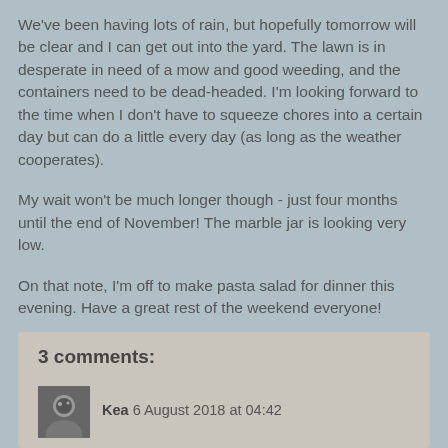We've been having lots of rain, but hopefully tomorrow will be clear and I can get out into the yard.  The lawn is in desperate in need of a mow and good weeding, and the containers need to be dead-headed.  I'm looking forward to the time when I don't have to squeeze chores into a certain day but can do a little every day (as long as the weather cooperates).
My wait won't be much longer though - just four months until the end of November!  The marble jar is looking very low.
On that note, I'm off to make pasta salad for dinner this evening.  Have a great rest of the weekend everyone!
Maebeme at 16:16
Share
3 comments:
Kea 6 August 2018 at 04:42